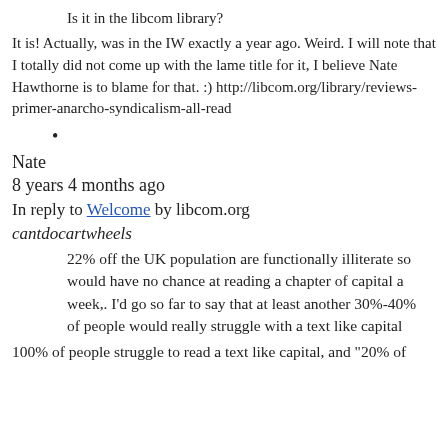Is it in the libcom library?
It is! Actually, was in the IW exactly a year ago. Weird. I will note that I totally did not come up with the lame title for it, I believe Nate Hawthorne is to blame for that. :) http://libcom.org/library/reviews-primer-anarcho-syndicalism-all-read
•
Nate
8 years 4 months ago
In reply to Welcome by libcom.org
cantdocartwheels
22% off the UK population are functionally illiterate so would have no chance at reading a chapter of capital a week,. I'd go so far to say that at least another 30%-40% of people would really struggle with a text like capital
100% of people struggle to read a text like capital, and "20% of